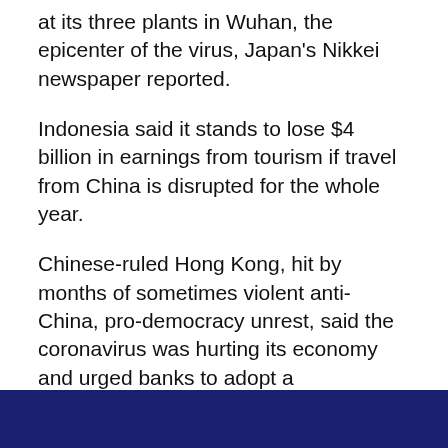at its three plants in Wuhan, the epicenter of the virus, Japan's Nikkei newspaper reported.
Indonesia said it stands to lose $4 billion in earnings from tourism if travel from China is disrupted for the whole year.
Chinese-ruled Hong Kong, hit by months of sometimes violent anti-China, pro-democracy unrest, said the coronavirus was hurting its economy and urged banks to adopt a “sympathetic stance” with borrowers.
But global stocks extended their recovery, cheered by record closes on Wall Street and China’s announcement of a tariff cut on some imports from the United States, which analysts